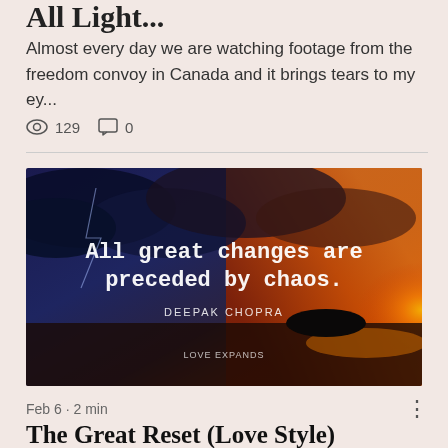All Light...
Almost every day we are watching footage from the freedom convoy in Canada and it brings tears to my ey...
129  0
[Figure (photo): Inspirational quote image with dark stormy sky and orange sunset over water. Text reads: 'All great changes are preceded by chaos. DEEPAK CHOPRA. LOVE EXPANDS']
Feb 6 · 2 min
The Great Reset (Love Style)
We all know that there is a great reset